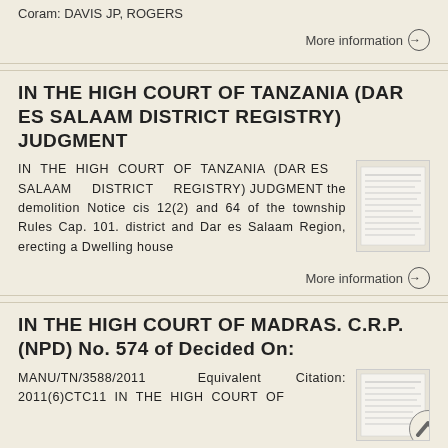Coram: DAVIS JP, ROGERS
More information →
IN THE HIGH COURT OF TANZANIA (DAR ES SALAAM DISTRICT REGISTRY) JUDGMENT
IN THE HIGH COURT OF TANZANIA (DAR ES SALAAM DISTRICT REGISTRY) JUDGMENT the demolition Notice cis 12(2) and 64 of the township Rules Cap. 101. district and Dar es Salaam Region, erecting a Dwelling house
More information →
IN THE HIGH COURT OF MADRAS. C.R.P. (NPD) No. 574 of Decided On:
MANU/TN/3588/2011  Equivalent Citation: 2011(6)CTC11  IN THE HIGH COURT OF